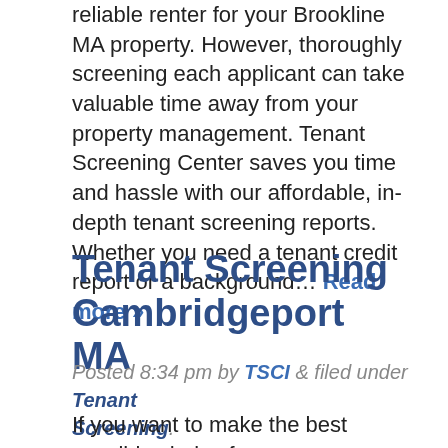Tenant screening is an essential step for finding a reliable renter for your Brookline MA property. However, thoroughly screening each applicant can take valuable time away from your property management. Tenant Screening Center saves you time and hassle with our affordable, in-depth tenant screening reports. Whether you need a tenant credit report or a background… Read more »
Tenant Screening Cambridgeport MA
Posted 8:34 pm by TSCI & filed under Tenant Screening.
If you want to make the best possible choice for your Cambridgeport MA rental property, turn to Tenant Screening Center for accurate, reliable tenant screening reports. Since 1992, we have been the...